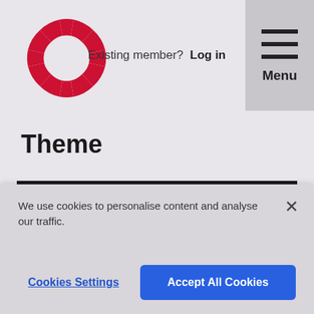[Figure (logo): Red circular logo made of segmented wedge shapes, resembling a gear or sunburst, in red/crimson color]
Existing member? Log in
Menu
Theme
Bringing together the worlds and methods of improvement and digital, to enable better outcomes and faster, more sustainable change
We use cookies to personalise content and analyse our traffic.
Cookies Settings
Accept All Cookies